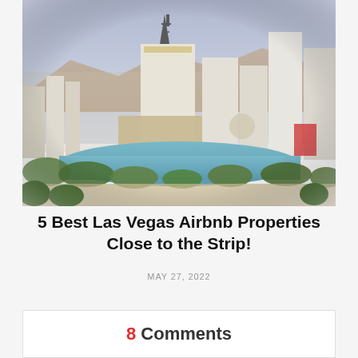[Figure (photo): Aerial view of the Las Vegas Strip showing Paris Las Vegas with the Eiffel Tower replica, the Bellagio lake, and other hotel towers under a clear blue sky.]
5 Best Las Vegas Airbnb Properties Close to the Strip!
MAY 27, 2022
8 Comments